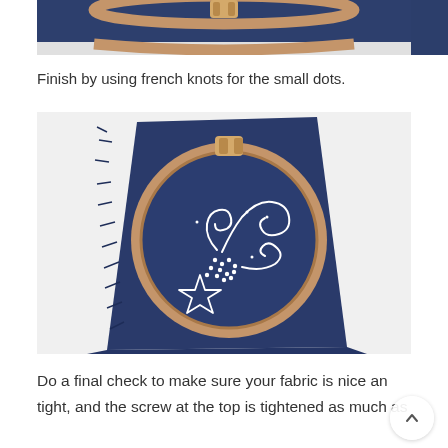[Figure (photo): Top portion of an embroidery hoop with navy blue fabric, showing a wooden bow/screw clasp at the top, cropped view]
Finish by using french knots for the small dots.
[Figure (photo): An embroidery hoop with navy blue fabric showing a completed white embroidery design featuring curling flourishes, small dots (french knots), and a shooting star outline. The hoop rests on folded navy fabric against a white background.]
Do a final check to make sure your fabric is nice an tight, and the screw at the top is tightened as much as